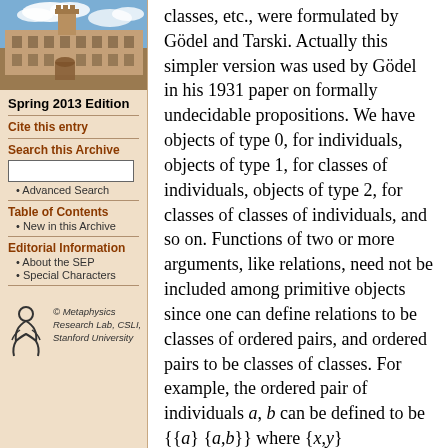[Figure (photo): Photo of a historic university building (likely Oxford or Cambridge) with stone architecture and blue sky with clouds]
Spring 2013 Edition
Cite this entry
Search this Archive
Advanced Search
Table of Contents
New in this Archive
Editorial Information
About the SEP
Special Characters
[Figure (logo): Metaphysics Research Lab, CSLI, Stanford University logo with stylized figure]
© Metaphysics Research Lab, CSLI, Stanford University
classes, etc., were formulated by Gödel and Tarski. Actually this simpler version was used by Gödel in his 1931 paper on formally undecidable propositions. We have objects of type 0, for individuals, objects of type 1, for classes of individuals, objects of type 2, for classes of classes of individuals, and so on. Functions of two or more arguments, like relations, need not be included among primitive objects since one can define relations to be classes of ordered pairs, and ordered pairs to be classes of classes. For example, the ordered pair of individuals a, b can be defined to be {{a} {a,b}} where {x,y}